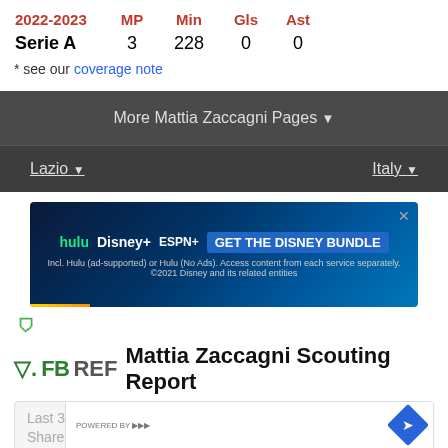| 2022-2023 | MP | Min | Gls | Ast |
| --- | --- | --- | --- | --- |
| Serie A | 3 | 228 | 0 | 0 |
* see our coverage note
More Mattia Zaccagni Pages ▼
Lazio ▼     Italy ▼
[Figure (screenshot): Disney Bundle advertisement banner: hulu, Disney+, ESPN+ logos with 'GET THE DISNEY BUNDLE' call to action]
Mattia Zaccagni Scouting Report
[Figure (screenshot): Overlay ad showing store information: In-store shopping (check), In-store pickup (check), Delivery (partial). Blue diamond navigation icon in top right.]